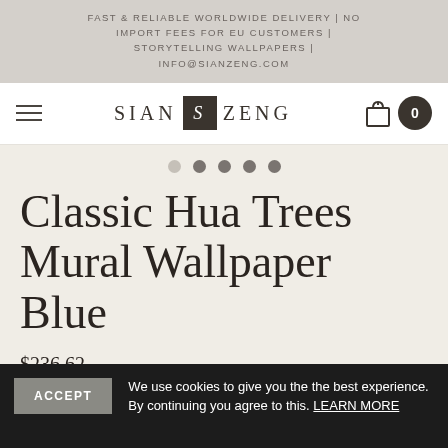FAST & RELIABLE WORLDWIDE DELIVERY | NO IMPORT FEES FOR EU CUSTOMERS | STORYTELLING WALLPAPERS | INFO@SIANZENG.COM
[Figure (logo): Sian Zeng brand logo with navigation hamburger menu and cart icon showing 0 items]
[Figure (other): Five pagination dots, four inactive and one active]
Classic Hua Trees Mural Wallpaper Blue
$236.62
ACCEPT   We use cookies to give you the the best experience. By continuing you agree to this. LEARN MORE